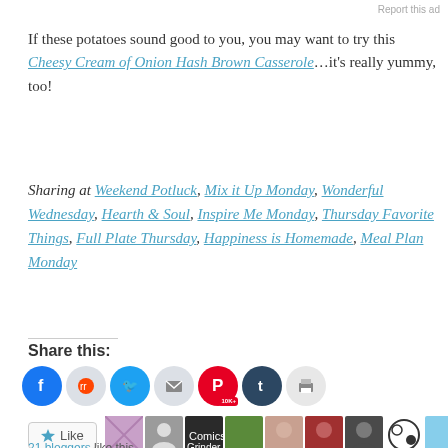Report this ad
If these potatoes sound good to you, you may want to try this Cheesy Cream of Onion Hash Brown Casserole…it's really yummy, too!
Sharing at Weekend Potluck, Mix it Up Monday, Wonderful Wednesday, Hearth & Soul, Inspire Me Monday, Thursday Favorite Things, Full Plate Thursday, Happiness is Homemade, Meal Plan Monday
Share this:
[Figure (other): Social sharing icons: Facebook, Reddit, Twitter, Email, Pinterest (10K+), Tumblr, Print]
[Figure (other): Like button and blogger avatars row showing 21 bloggers like this]